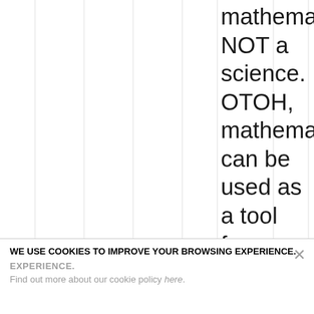mathematics NOT a science. OTOH, mathematics can be used as a tool for science, thus simplifications and approximations like Newton's theory of gravity, your example from
WE USE COOKIES TO IMPROVE YOUR BROWSING EXPERIENCE.
Find out more about our cookie policy here.